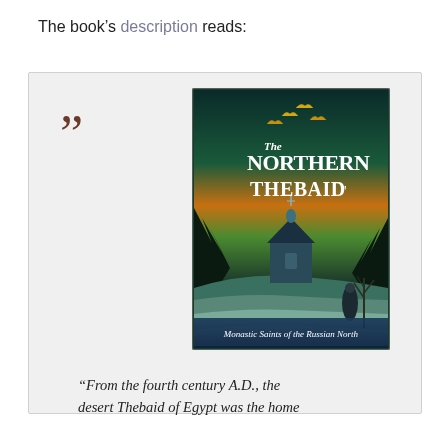The book's description reads:
[Figure (illustration): Box with large brown closing quotation marks on the left and a book cover image on the right. The book cover shows 'The Northern Thebaid: Monastic Saints of the Russian North' with artwork depicting a snowy Russian landscape with a church and robed figure under a colorful sky with golden birds.]
“From the fourth century A.D., the desert Thebaid of Egypt was the home